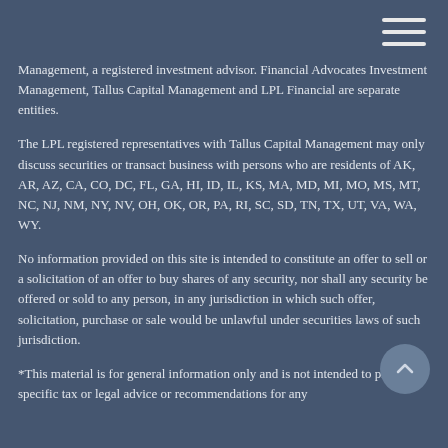Management, a registered investment advisor. Financial Advocates Investment Management, Tallus Capital Management and LPL Financial are separate entities.
The LPL registered representatives with Tallus Capital Management may only discuss securities or transact business with persons who are residents of AK, AR, AZ, CA, CO, DC, FL, GA, HI, ID, IL, KS, MA, MD, MI, MO, MS, MT, NC, NJ, NM, NY, NV, OH, OK, OR, PA, RI, SC, SD, TN, TX, UT, VA, WA, WY.
No information provided on this site is intended to constitute an offer to sell or a solicitation of an offer to buy shares of any security, nor shall any security be offered or sold to any person, in any jurisdiction in which such offer, solicitation, purchase or sale would be unlawful under securities laws of such jurisdiction.
*This material is for general information only and is not intended to provide specific tax or legal advice or recommendations for any...